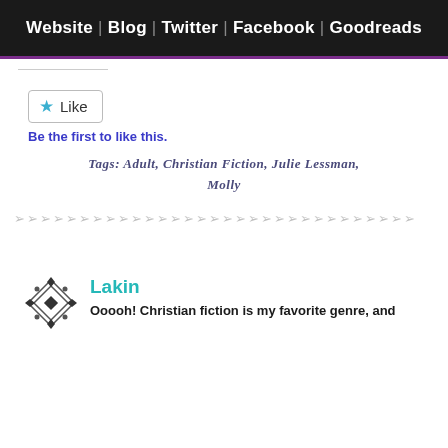Website | Blog | Twitter | Facebook | Goodreads
[Figure (other): Like button widget with star icon]
Be the first to like this.
Tags: Adult, Christian Fiction, Julie Lessman, Molly
[Figure (other): Decorative divider pattern of chevron/arrow shapes]
[Figure (other): Avatar icon for commenter Lakin - diamond pattern]
Lakin
Ooooh! Christian fiction is my favorite genre, and